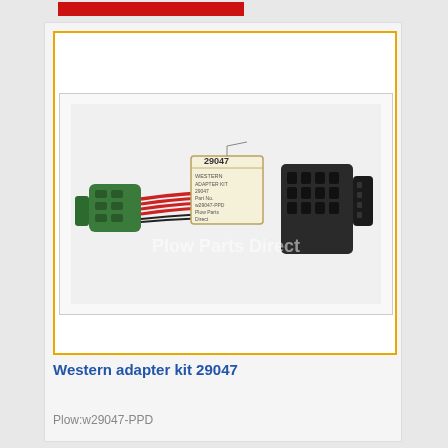[Figure (photo): Red banner/bar at the top of the page, partial view of a website header]
[Figure (photo): Photo of Western adapter kit 29047 — a wiring harness adapter with green and black connectors and red wires, with a product tag labeled 29047. Watermark reads 'Plow Parts Direct'.]
Western adapter kit 29047
Plow:w29047-PPD